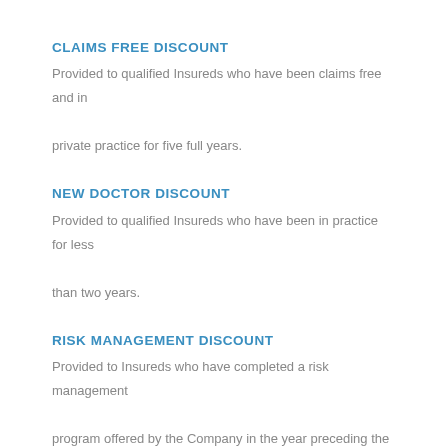CLAIMS FREE DISCOUNT
Provided to qualified Insureds who have been claims free and in private practice for five full years.
NEW DOCTOR DISCOUNT
Provided to qualified Insureds who have been in practice for less than two years.
RISK MANAGEMENT DISCOUNT
Provided to Insureds who have completed a risk management program offered by the Company in the year preceding the renewal policy. Applied at renewal.